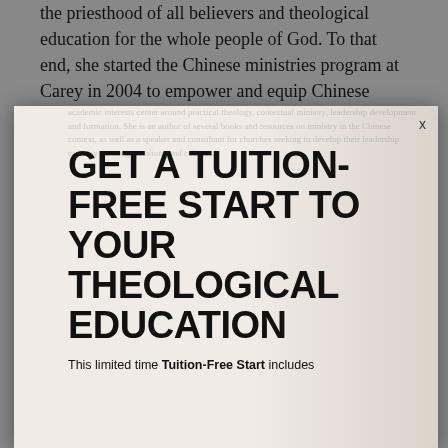the priesthood of all believers and theological education for the whole people of God. To that end, she started the Chinese ministries program at Carey in 2004 to empower and equip Chinese immigrant Christians and their second generation leaders. Her
[Figure (screenshot): Modal popup advertisement overlaying a webpage. Contains large bold headline 'GET A TUITION-FREE START TO YOUR THEOLOGICAL EDUCATION' with a close button (x) in the top right, and a subtext line 'This limited time Tuition-Free Start includes' at the bottom. Background shows a blurred image of a person.]